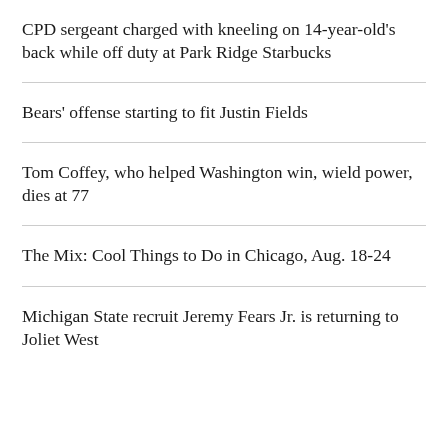CPD sergeant charged with kneeling on 14-year-old's back while off duty at Park Ridge Starbucks
Bears’ offense starting to fit Justin Fields
Tom Coffey, who helped Washington win, wield power, dies at 77
The Mix: Cool Things to Do in Chicago, Aug. 18-24
Michigan State recruit Jeremy Fears Jr. is returning to Joliet West